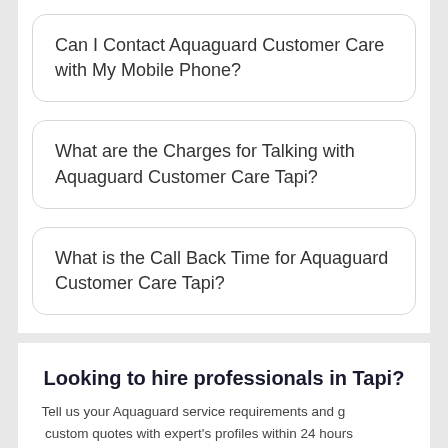Can I Contact Aquaguard Customer Care with My Mobile Phone?
What are the Charges for Talking with Aquaguard Customer Care Tapi?
What is the Call Back Time for Aquaguard Customer Care Tapi?
Looking to hire professionals in Tapi?
Tell us your Aquaguard service requirements and get custom quotes with expert's profiles within 24 hours from upto 5 interested Aquaguard Repair Service in Tapi.